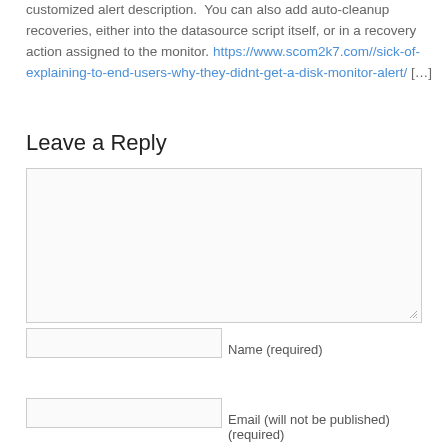customized alert description.  You can also add auto-cleanup recoveries, either into the datasource script itself, or in a recovery action assigned to the monitor. https://www.scom2k7.com//sick-of-explaining-to-end-users-why-they-didnt-get-a-disk-monitor-alert/ […]
Leave a Reply
[comment text area]
Name (required)
Email (will not be published) (required)